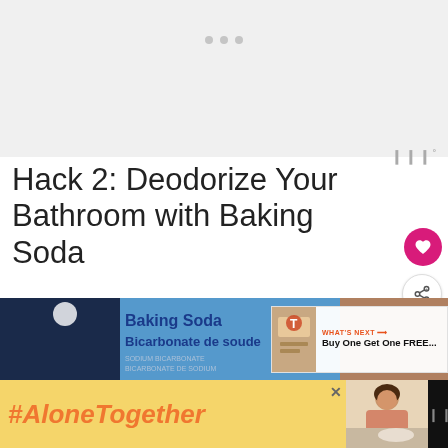[Figure (other): Gray placeholder area with three gray dots at top center, indicating loading or carousel indicator]
Hack 2: Deodorize Your Bathroom with Baking Soda
[Figure (photo): Photo of a Baking Soda / Bicarbonate de soude box (Sodium Bicarbonate / Bicarbonate de sodium) on a blue background, with a 'WHAT'S NEXT → Buy One Get One FREE...' overlay on the right]
[Figure (other): Advertisement banner: '#AloneTogether' text in orange italic on yellow background, with a photo of a woman on the right side and a close (X) button]